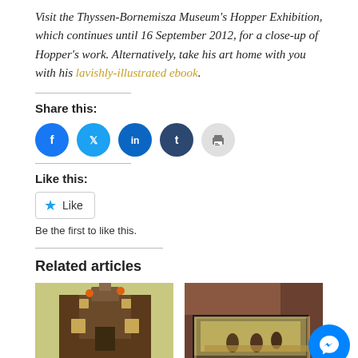Visit the Thyssen-Bornemisza Museum's Hopper Exhibition, which continues until 16 September 2012, for a close-up of Hopper's work. Alternatively, take his art home with you with his lavishly-illustrated ebook.
Share this:
[Figure (infographic): Row of circular social share buttons: Facebook (blue), Twitter (light blue), LinkedIn (dark blue), Tumblr (dark navy), Print (light grey)]
Like this:
[Figure (infographic): Like button widget with star icon and text 'Like', followed by text 'Be the first to like this.']
Related articles
[Figure (photo): Two small artwork images side by side: left shows a painting of a Victorian building, right shows Edward Hopper's Nighthawks diner painting. A blue Messenger chat button overlaps the bottom right.]